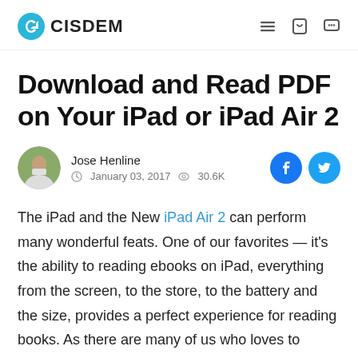CISDEM
Download and Read PDF on Your iPad or iPad Air 2
Jose Henline
January 03, 2017  30.6K
The iPad and the New iPad Air 2 can perform many wonderful feats. One of our favorites — it's the ability to reading ebooks on iPad, everything from the screen, to the store, to the battery and the size, provides a perfect experience for reading books. As there are many of us who loves to download PDF